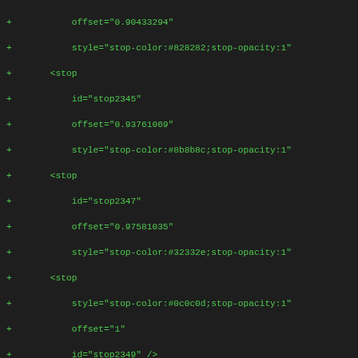Diff/code view showing XML linearGradient stop elements with id, offset, and style attributes, prefixed with + signs indicating added lines.